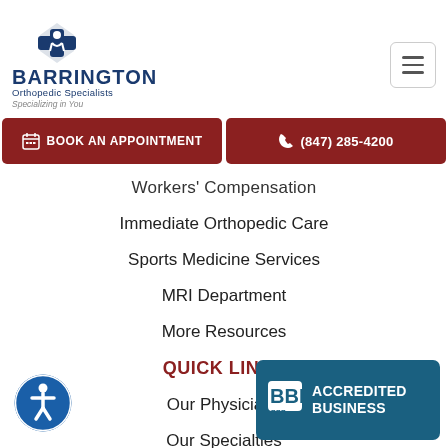[Figure (logo): Barrington Orthopedic Specialists logo with blue cross/person icon, text BARRINGTON Orthopedic Specialists Specializing in You]
[Figure (other): Hamburger menu button (three horizontal lines in a rounded rectangle)]
BOOK AN APPOINTMENT
(847) 285-4200
Workers' Compensation
Immediate Orthopedic Care
Sports Medicine Services
MRI Department
More Resources
QUICK LINKS
Our Physicians
Our Specialties
Our Blogs
Our Testimonials
[Figure (logo): Accessibility icon - blue circle with white person/wheelchair symbol]
[Figure (logo): BBB Accredited Business badge in teal/dark blue]